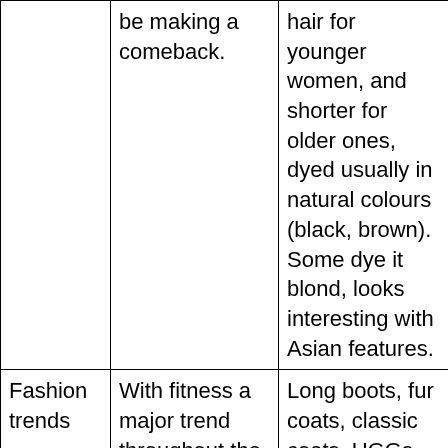|  | be making a comeback. | hair for younger women, and shorter for older ones, dyed usually in natural colours (black, brown). Some dye it blond, looks interesting with Asian features. |
| Fashion trends | With fitness a major trend throughout the city, it is not uncommon to see women in yoga pants (The local Lululemon brand) whether or not | Long boots, fur coats, classic coats, UGGs, designer bags, skinny jeans, leggings, and tunics are the hits of the season, flats during |